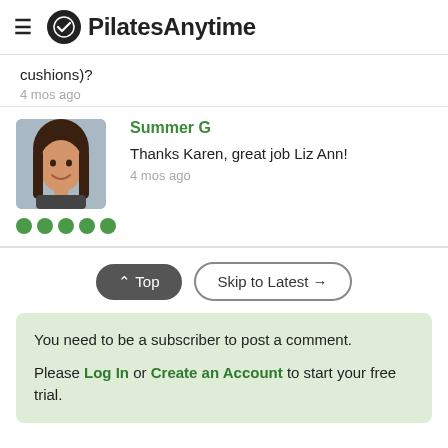PilatesAnytime
cushions)?
4 mos ago
Summer G
Thanks Karen, great job Liz Ann!
4 mos ago
^ Top  Skip to Latest →
You need to be a subscriber to post a comment.

Please Log In or Create an Account to start your free trial.